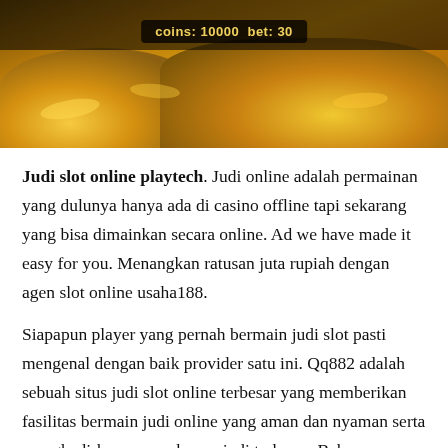[Figure (photo): Photo of gold coins piled up with a dark HUD overlay showing 'coins: 10000 bet: 30' text, resembling a slot/gambling game interface.]
Judi slot online playtech. Judi online adalah permainan yang dulunya hanya ada di casino offline tapi sekarang yang bisa dimainkan secara online. Ad we have made it easy for you. Menangkan ratusan juta rupiah dengan agen slot online usaha188.
Siapapun player yang pernah bermain judi slot pasti mengenal dengan baik provider satu ini. Qq882 adalah sebuah situs judi slot online terbesar yang memberikan fasilitas bermain judi online yang aman dan nyaman serta menghadirkan promo bonus judi terbesar. Beberapa provider resmi permainan slot judi online uang asli yang sudah tidak asing lagi bagi kita para pecinta judi online yaitu pragmatic play